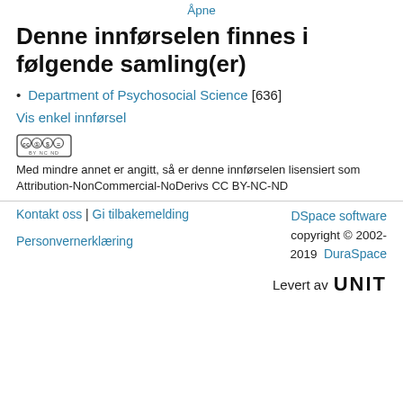Åpne
Denne innførselen finnes i følgende samling(er)
Department of Psychosocial Science [636]
Vis enkel innførsel
[Figure (logo): Creative Commons CC BY-NC-ND license badge]
Med mindre annet er angitt, så er denne innførselen lisensiert som Attribution-NonCommercial-NoDerivs CC BY-NC-ND
Kontakt oss | Gi tilbakemelding | Personvernerklæring | DSpace software copyright © 2002-2019 DuraSpace | Levert av UNIT